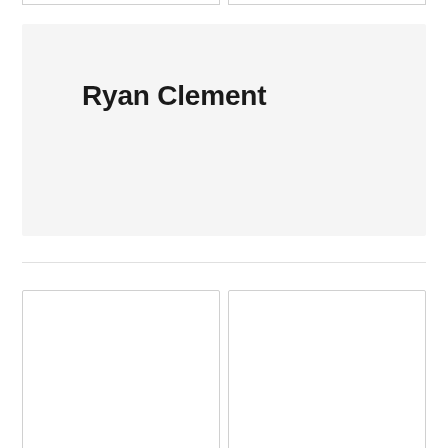[Figure (other): Two partially visible card outlines at the top of the page]
Ryan Clement
[Figure (other): Two card outlines at the bottom of the page, partially cut off]